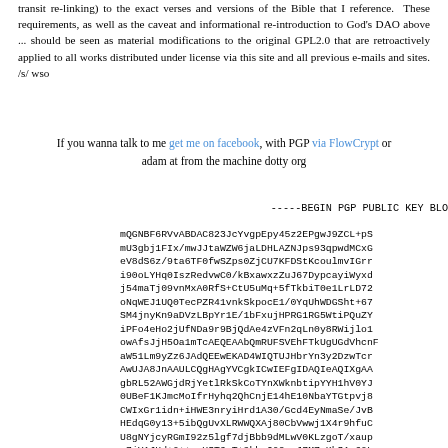transit re-linking) to the exact verses and versions of the Bible that I reference. These requirements, as well as the caveat and informational re-introduction to God's DAO above ... should be seen as material modifications to the original GPL2.0 that are retroactively applied to all works distributed under license via this site and all previous e-mails and sites. /s/ wso
If you wanna talk to me get me on facebook, with PGP via FlowCrypt or adam at from the machine dotty org
-----BEGIN PGP PUBLIC KEY BLO...
mQGNBF6RVvABDAC823JcYvgpEpy45z2EPgwJ9ZCL+pS...
mU3gbj1FIx/mwJJtaWZW6jaLDHLAZNJps93qpwdMCxG...
eV8dS6z/9ta6TF0fwSZps0ZjCU7KFDStKcoulmvIGrr...
i90oLYHq0IszRedvwC0/kBxawxzZuJ67DypcayiWyxd...
j54maTj09vnMxA0RfS+CtU5uMq+5fTkbiT0e1LrLD72...
oNqWEJ1UQ0TecPZR41vnkSkpocE1/0YqUhWDGSht+67...
SM4jnyKn9aDVzLBpYr1E/1bFxujHPRG1RG5WtiPQuZY...
iPFo4eHo2jUfNDa9r9BjQdAe4zVFn2qLn0y8RWijlo1...
owAfsJjH5Oa1mTcAEQEAAbQmRUFSVEhFTkUgUGdVhcnF...
aW51Lm9yZz6JAdQEEwEKAD4WIQTUJHbrYn3y2DzwTcr...
AwUJA8JnAAULCQgHAgYVCgkICwIEFgIDAQIeAQIXgAA...
gbRL52AWGjdRjYetlRkSkCoTYnXWknbtipYYH1hV0YJ...
0UBeF1KJmcMoIfrHyhq2QhCnjE14hE10NbaYTGtpvj8...
CWIxGr1idn+iHWE3nryiHrd1A30/Gcd4EyNmaSe/JvB...
HEdqG0y13+5ibQgUvXLRWWQXAj80CbVwwj1X4r9hfuC...
U8gNYjcyRGmI92z5lgf7djBbb9dMLwV0KLzgoT/xaup...
y7jY1JHd+0++rgUST2sT+9kbuQ0GxpJ7MZcKbS1n60L...
uezO7RIzQ9wHSn688CDri9jmYhjp5s0HKuN61etJ1g==